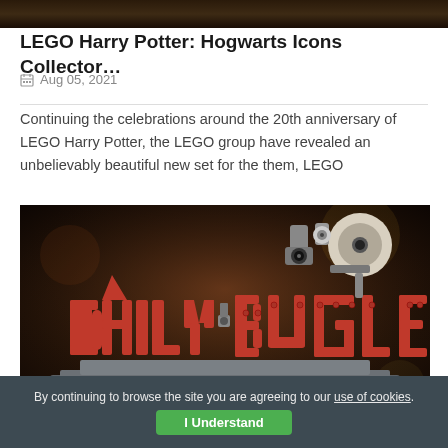[Figure (photo): Dark top portion of a webpage image, cropped]
LEGO Harry Potter: Hogwarts Icons Collector...
Aug 05, 2021
Continuing the celebrations around the 20th anniversary of LEGO Harry Potter, the LEGO group have revealed an unbelievably beautiful new set for the them, LEGO
[Figure (photo): LEGO Daily Bugle set showing large red letters spelling DAILY BUGLE built from LEGO bricks, with various LEGO mechanical elements on top, on a dark blurred background]
By continuing to browse the site you are agreeing to our use of cookies.
I Understand